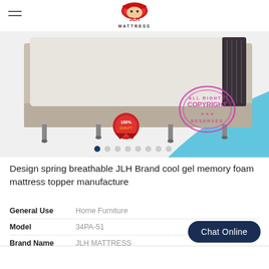JLH MATTRESS
[Figure (photo): JLH Mattress product photo showing a bed with mattress and box spring on legs, with a 100% quality seal badge and a copyright reserved stamp overlay, on a light blue background with carousel navigation dots.]
Design spring breathable JLH Brand cool gel memory foam mattress topper manufacture
| Property | Value |
| --- | --- |
| General Use | Home Furniture |
| Model | 34PA-51 |
| Brand Name | JLH MATTRESS |
Chat Online